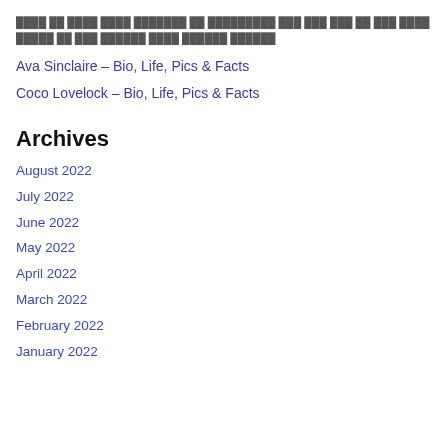[redacted Hindi/non-Latin text block]
Ava Sinclaire – Bio, Life, Pics & Facts
Coco Lovelock – Bio, Life, Pics & Facts
Archives
August 2022
July 2022
June 2022
May 2022
April 2022
March 2022
February 2022
January 2022